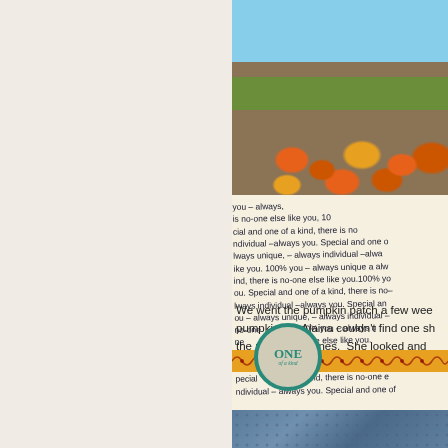[Figure (photo): Child standing in a pumpkin patch with many orange pumpkins scattered on the ground, outdoors in daylight]
[Figure (illustration): Scrapbook-style decorative element with handwritten text repeating 'you - always, is no-one else like you, 100% you, special and one of a kind, there is no individual - always you. Special and one of always unique - always individual - always like you. 100% you - always unique a always kind, there is no-one else like you. 100% yo ou. Special and one of a kind, there is no- always individual - always you. Special are ou - always unique - always individual - no-one you.100% you - always up ne there is no-one else like you. a individual - always you. ore else like you, 100% you- pecial one of a kind, there is no-one e ndividual - always you. Special and one of' with an orange zig-zag ribbon band and a circular badge reading ONE of a kind in teal]
We went the pumpkin patch a few wee pumpkin but Alaina couldn't find one sh the pre-picked ones.  She looked and white
[Figure (photo): Bottom portion of a second photo showing a textured blue/denim-like surface with small dots pattern]